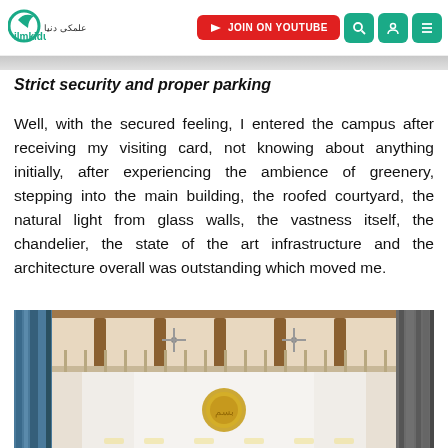ilmkidunya — JOIN ON YOUTUBE (navigation bar)
Strict security and proper parking
Well, with the secured feeling, I entered the campus after receiving my visiting card, not knowing about anything initially, after experiencing the ambience of greenery, stepping into the main building, the roofed courtyard, the natural light from glass walls, the vastness itself, the chandelier, the state of the art infrastructure and the architecture overall was outstanding which moved me.
[Figure (photo): Interior of a university building lobby showing a roofed courtyard with wooden ceiling beams, a balcony/mezzanine level with railings, ceiling fans, a large golden emblem on a white wall, marble-like walls, and warm lighting.]